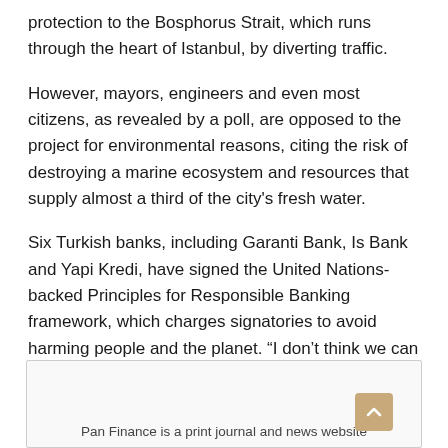protection to the Bosphorus Strait, which runs through the heart of Istanbul, by diverting traffic.
However, mayors, engineers and even most citizens, as revealed by a poll, are opposed to the project for environmental reasons, citing the risk of destroying a marine ecosystem and resources that supply almost a third of the city's fresh water.
Six Turkish banks, including Garanti Bank, Is Bank and Yapi Kredi, have signed the United Nations-backed Principles for Responsible Banking framework, which charges signatories to avoid harming people and the planet. "I don't think we can take part in the funding of Kanal Istanbul," said a senior banker who requested anonymity. "It may trigger some environmental issues."
Pan Finance is a print journal and news website